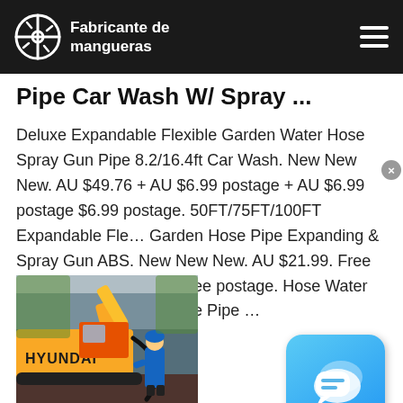Fabricante de mangueras
Pipe Car Wash W/ Spray ...
Deluxe Expandable Flexible Garden Water Hose Spray Gun Pipe 8.2/16.4ft Car Wash. New New New. AU $49.76 + AU $6.99 postage + AU $6.99 postage $6.99 postage. 50FT/75FT/100FT Expandable Flexible Garden Hose Pipe Expanding & Spray Gun ABS. New New New. AU $21.99. Free postage Free postage Free postage. Hose Water Spray Nozzle Expandable Pipe ...
[Figure (photo): A worker in blue uniform standing next to a yellow Hyundai excavator, holding a black hose pipe. Outdoor industrial setting.]